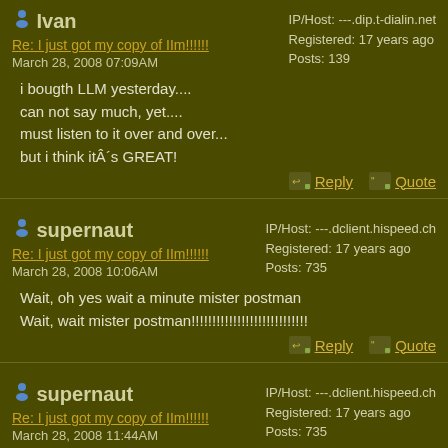Ivan — IP/Host: ---.dip.t-dialin.net, Registered: 17 years ago, Posts: 139
Re: I just got my copy of IIm!!!!!! — March 28, 2008 07:09AM
i bougth LLM yesterday....
can not say much, yet....
must listen to it over and over...
but i think itÂ´s GREAT!
Reply | Quote
supernaut — IP/Host: ---.dclient.hispeed.ch, Registered: 17 years ago, Posts: 735
Re: I just got my copy of IIm!!!!!! — March 28, 2008 10:06AM
Wait, oh yes wait a minute mister postman
Wait, wait mister postman!!!!!!!!!!!!!!!!!!!!!!!!!!!!
Reply | Quote
supernaut — IP/Host: ---.dclient.hispeed.ch, Registered: 17 years ago, Posts: 735
Re: I just got my copy of IIm!!!!!! — March 28, 2008 11:44AM